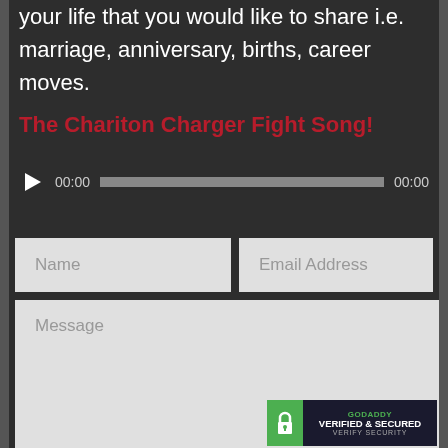your life that you would like to share i.e. marriage, anniversary, births, career moves.
The Chariton Charger Fight Song!
[Figure (other): Audio player widget showing play button, 00:00 timestamp, progress bar, and 00:00 end time]
[Figure (other): Web form with Name and Email Address input fields and a Message textarea]
[Figure (other): GoDaddy Verified & Secured badge with lock icon]